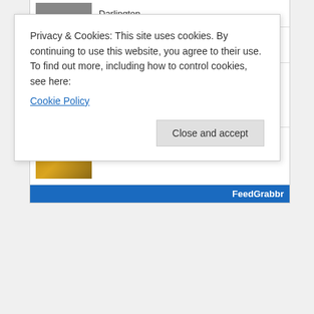[Figure (screenshot): Website feed widget showing news items including 'Darlington' (top, partial), a red image item, 'Suárez penalized in Darlington inspection', and 'What to Watch: 2022 Southern 500 playoff opener', with a FeedGrabbr blue footer bar]
Privacy & Cookies: This site uses cookies. By continuing to use this website, you agree to their use.
To find out more, including how to control cookies, see here:
Cookie Policy
Close and accept